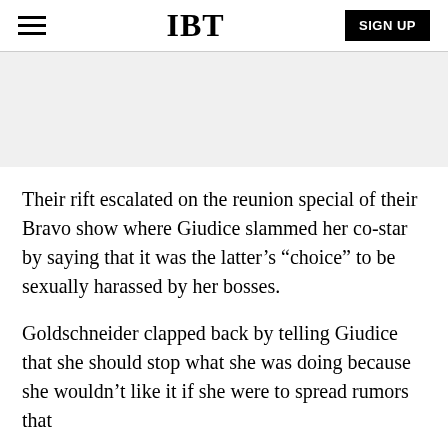IBT | SIGN UP
[Figure (other): Advertisement/banner placeholder area with light gray background]
Their rift escalated on the reunion special of their Bravo show where Giudice slammed her co-star by saying that it was the latter’s “choice” to be sexually harassed by her bosses.
Goldschneider clapped back by telling Giudice that she should stop what she was doing because she wouldn’t like it if she were to spread rumors that